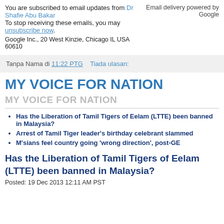You are subscribed to email updates from Dr Shafie Abu Bakar
To stop receiving these emails, you may unsubscribe now.
Google Inc., 20 West Kinzie, Chicago IL USA 60610
Email delivery powered by Google
Tanpa Nama di 11:22 PTG   Tiada ulasan:
MY VOICE FOR NATION
MY VOICE FOR NATION
Has the Liberation of Tamil Tigers of Eelam (LTTE) been banned in Malaysia?
Arrest of Tamil Tiger leader's birthday celebrant slammed
M'sians feel country going 'wrong direction', post-GE
Has the Liberation of Tamil Tigers of Eelam (LTTE) been banned in Malaysia?
Posted: 19 Dec 2013 12:11 AM PST